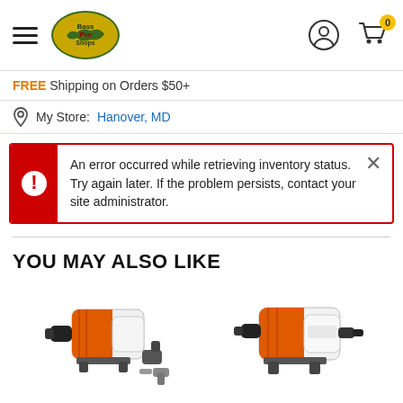Bass Pro Shops — navigation header with hamburger menu, logo, account icon, and cart (0 items)
FREE Shipping on Orders $50+
My Store: Hanover, MD
An error occurred while retrieving inventory status. Try again later. If the problem persists, contact your site administrator.
YOU MAY ALSO LIKE
[Figure (photo): Two orange and white water pump products shown from the side]
[Figure (photo): Orange and white water pump product shown from the side]